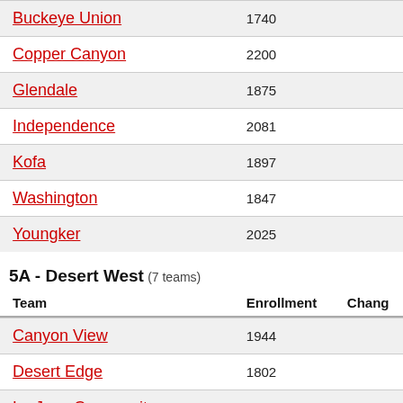| Team | Enrollment | Change |
| --- | --- | --- |
| Buckeye Union | 1740 |  |
| Copper Canyon | 2200 |  |
| Glendale | 1875 |  |
| Independence | 2081 |  |
| Kofa | 1897 |  |
| Washington | 1847 |  |
| Youngker | 2025 |  |
5A - Desert West (7 teams)
| Team | Enrollment | Change |
| --- | --- | --- |
| Canyon View | 1944 |  |
| Desert Edge | 1802 |  |
| La Joya Community | 2078 |  |
| Lake Havasu | 1881 |  |
| Millennium | 1976 |  |
| Verrado | 1725 |  |